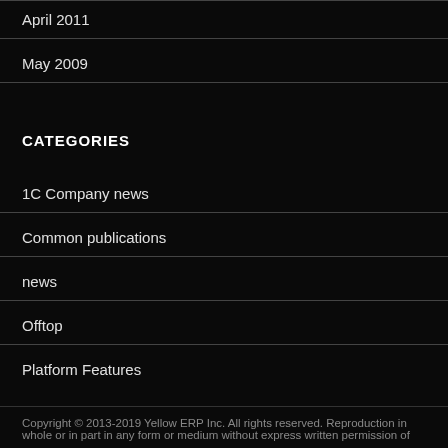April 2011
May 2009
CATEGORIES
1C Company news
Common publications
news
Offtop
Platform Features
Copyright © 2013-2019 Yellow ERP Inc. All rights reserved. Reproduction in whole or in part in any form or medium without express written permission of